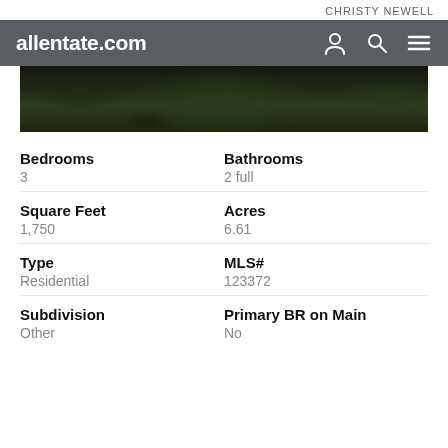CHRISTY NEWELL
allentate.com
[Figure (photo): Aerial or landscape photo of wooded/vegetated property with dark green and brown tones]
| Field | Value |
| --- | --- |
| Bedrooms | 3 |
| Bathrooms | 2 full |
| Square Feet | 1,750 |
| Acres | 6.61 |
| Type | Residential |
| MLS# | 123372 |
| Subdivision | Other |
| Primary BR on Main | No |